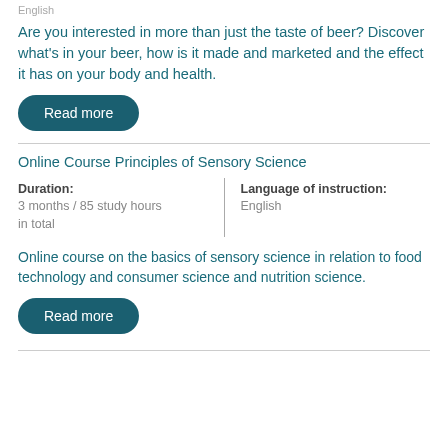English
Are you interested in more than just the taste of beer? Discover what's in your beer, how is it made and marketed and the effect it has on your body and health.
Read more
Online Course Principles of Sensory Science
| Duration: | Language of instruction: |
| --- | --- |
| 3 months / 85 study hours in total | English |
Online course on the basics of sensory science in relation to food technology and consumer science and nutrition science.
Read more